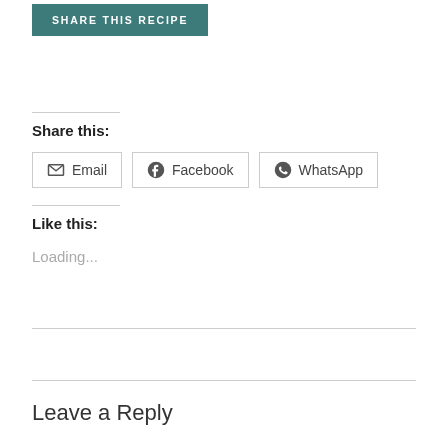SHARE THIS RECIPE
Share this:
Email  Facebook  WhatsApp
Like this:
Loading...
Leave a Reply